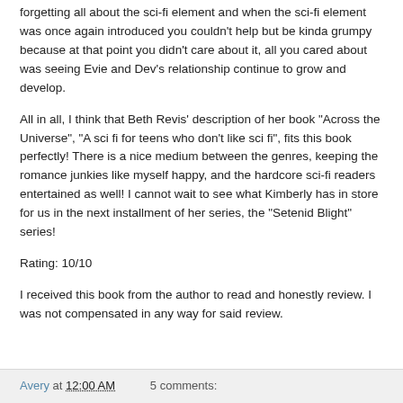forgetting all about the sci-fi element and when the sci-fi element was once again introduced you couldn't help but be kinda grumpy because at that point you didn't care about it, all you cared about was seeing Evie and Dev's relationship continue to grow and develop.
All in all, I think that Beth Revis' description of her book "Across the Universe", "A sci fi for teens who don't like sci fi", fits this book perfectly! There is a nice medium between the genres, keeping the romance junkies like myself happy, and the hardcore sci-fi readers entertained as well! I cannot wait to see what Kimberly has in store for us in the next installment of her series, the "Setenid Blight" series!
Rating: 10/10
I received this book from the author to read and honestly review. I was not compensated in any way for said review.
Avery at 12:00 AM    5 comments: